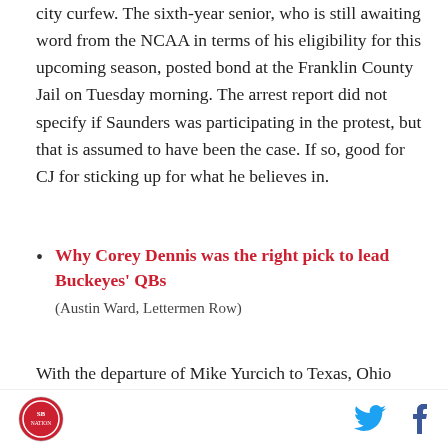city curfew. The sixth-year senior, who is still awaiting word from the NCAA in terms of his eligibility for this upcoming season, posted bond at the Franklin County Jail on Tuesday morning. The arrest report did not specify if Saunders was participating in the protest, but that is assumed to have been the case. If so, good for CJ for sticking up for what he believes in.
Why Corey Dennis was the right pick to lead Buckeyes' QBs
(Austin Ward, Lettermen Row)
With the departure of Mike Yurcich to Texas, Ohio State was in need of a new quarterbacks coach. Sure, Ryan Day was pretty much the man in charge of the